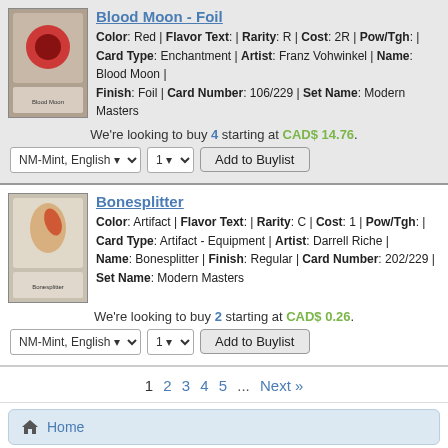Blood Moon - Foil
Color: Red | Flavor Text: | Rarity: R | Cost: 2R | Pow/Tgh: | Card Type: Enchantment | Artist: Franz Vohwinkel | Name: Blood Moon | Finish: Foil | Card Number: 106/229 | Set Name: Modern Masters
We're looking to buy 4 starting at CAD$ 14.76.
Bonesplitter
Color: Artifact | Flavor Text: | Rarity: C | Cost: 1 | Pow/Tgh: | Card Type: Artifact - Equipment | Artist: Darrell Riche | Name: Bonesplitter | Finish: Regular | Card Number: 202/229 | Set Name: Modern Masters
We're looking to buy 2 starting at CAD$ 0.26.
1 2 3 4 5 ... Next »
Home
You have no items on your buylist.
Store
Log In